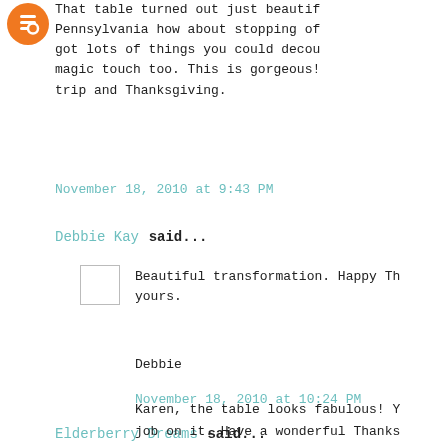That table turned out just beautifully, Pennsylvania how about stopping of got lots of things you could decouple magic touch too. This is gorgeous! trip and Thanksgiving.
November 18, 2010 at 9:43 PM
Debbie Kay said...
Beautiful transformation. Happy Thanksgiving yours.
Debbie
November 18, 2010 at 10:24 PM
Elderberry Dreams said...
Karen, the table looks fabulous! job on it. Have a wonderful Thanksgiving...